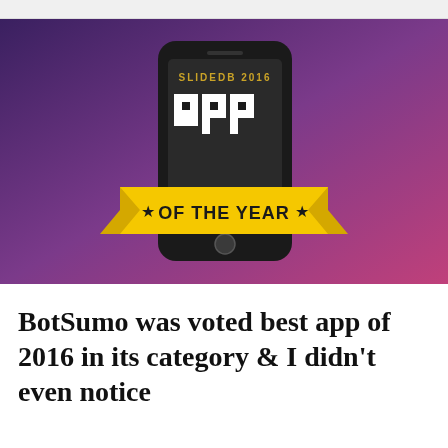[Figure (illustration): SlideDB 2016 App of the Year award graphic showing a smartphone with a pixelated 'app' text on screen and a yellow ribbon banner reading '★ OF THE YEAR ★'. Background is a purple-to-pink gradient.]
BotSumo was voted best app of 2016 in its category & I didn't even notice